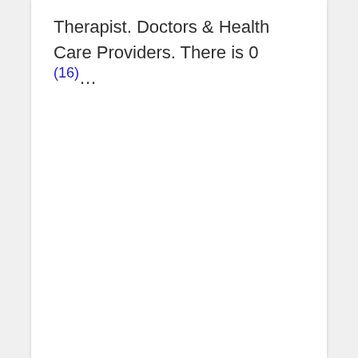Therapist. Doctors & Health Care Providers. There is 0 (16)…